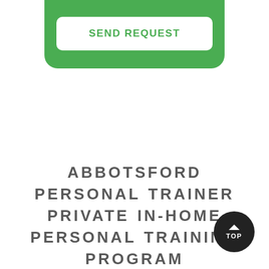[Figure (screenshot): Green rounded card UI element with a white input bar at top and a 'SEND REQUEST' button with white background and green text]
ABBOTSFORD PERSONAL TRAINER PRIVATE IN-HOME PERSONAL TRAINING PROGRAM
[Figure (other): Dark circular 'TOP' back-to-top button with upward chevron arrow]